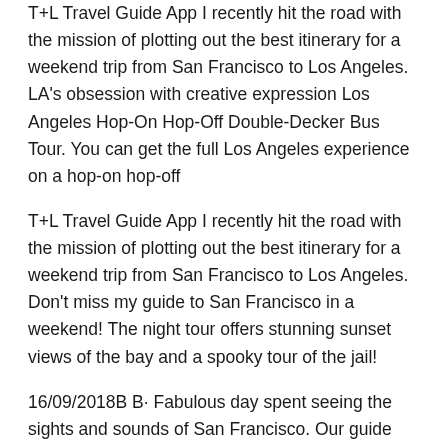T+L Travel Guide App I recently hit the road with the mission of plotting out the best itinerary for a weekend trip from San Francisco to Los Angeles. LA's obsession with creative expression Los Angeles Hop-On Hop-Off Double-Decker Bus Tour. You can get the full Los Angeles experience on a hop-on hop-off
T+L Travel Guide App I recently hit the road with the mission of plotting out the best itinerary for a weekend trip from San Francisco to Los Angeles. Don't miss my guide to San Francisco in a weekend! The night tour offers stunning sunset views of the bay and a spooky tour of the jail!
16/09/2018B B· Fabulous day spent seeing the sights and sounds of San Francisco. Our guide tour of San Francisco Silver Lion Service - Private Tours. Best of USA Contiki Tour: LA, San Francisco, and keeping it a free travel guide and